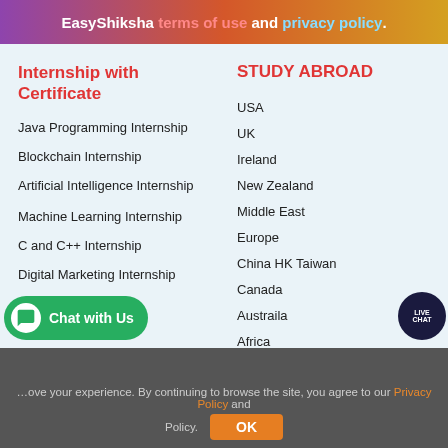EasyShiksha terms of use and privacy policy.
Internship with Certificate
Java Programming Internship
Blockchain Internship
Artificial Intelligence Internship
Machine Learning Internship
C and C++ Internship
Digital Marketing Internship
STUDY ABROAD
USA
UK
Ireland
New Zealand
Middle East
Europe
China HK Taiwan
Canada
Austraila
Africa
...improve your experience. By continuing to browse the site, you agree to our Privacy Policy and Policy. OK